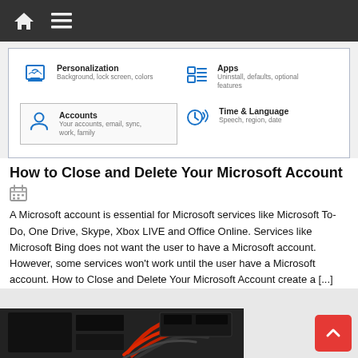Home | Menu
[Figure (screenshot): Windows 10 Settings panel showing Personalization (Background, lock screen, colors), Apps (Uninstall, defaults, optional features), Accounts (Your accounts, email, sync, work, family) highlighted, and Time & Language (Speech, region, date)]
How to Close and Delete Your Microsoft Account
A Microsoft account is essential for Microsoft services like Microsoft To-Do, One Drive, Skype, Xbox LIVE and Office Online. Services like Microsoft Bing does not want the user to have a Microsoft account. However, some services won't work until the user have a Microsoft account. How to Close and Delete Your Microsoft Account create a [...]
[Figure (photo): Interior of a computer case showing components with red and black cables]